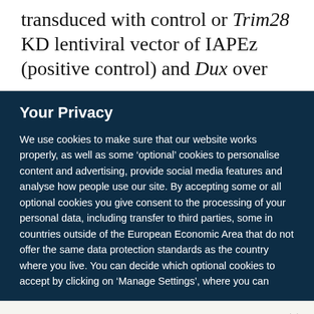transduced with control or Trim28 KD lentiviral vector of IAPEz (positive control) and Dux over
Your Privacy
We use cookies to make sure that our website works properly, as well as some ‘optional’ cookies to personalise content and advertising, provide social media features and analyse how people use our site. By accepting some or all optional cookies you give consent to the processing of your personal data, including transfer to third parties, some in countries outside of the European Economic Area that do not offer the same data protection standards as the country where you live. You can decide which optional cookies to accept by clicking on ‘Manage Settings’, where you can
Get the most important science stories of the day, free in your inbox.
Sign up for Nature Briefing